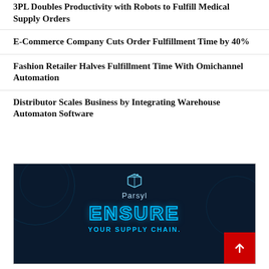3PL Doubles Productivity with Robots to Fulfill Medical Supply Orders
E-Commerce Company Cuts Order Fulfillment Time by 40%
Fashion Retailer Halves Fulfillment Time With Omichannel Automation
Distributor Scales Business by Integrating Warehouse Automaton Software
[Figure (advertisement): Parsyl advertisement on dark navy background with decorative circle outlines. Shows a box icon logo, the Parsyl name, large neon-outlined text reading ENSURE, and smaller text reading YOUR SUPPLY CHAIN. A red scroll-to-top button is overlaid in the bottom-right corner.]